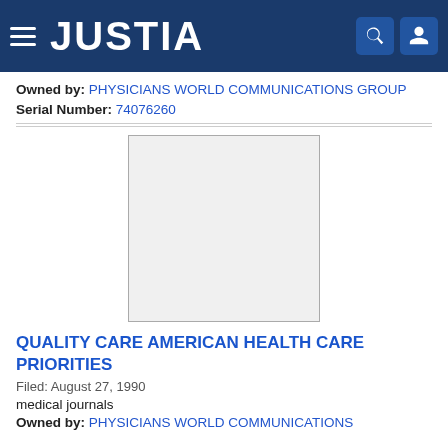JUSTIA
Owned by: PHYSICIANS WORLD COMMUNICATIONS GROUP
Serial Number: 74076260
[Figure (other): Blank/empty trademark image placeholder box]
QUALITY CARE AMERICAN HEALTH CARE PRIORITIES
Filed: August 27, 1990
medical journals
Owned by: PHYSICIANS WORLD COMMUNICATIONS